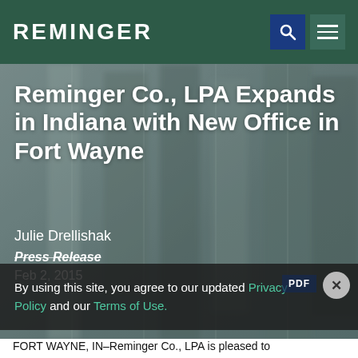REMINGER
[Figure (photo): Blurred background photo of people walking, used as hero image behind article title text]
Reminger Co., LPA Expands in Indiana with New Office in Fort Wayne
Julie Drellishak
Press Release
Feb 2, 2015
By using this site, you agree to our updated Privacy Policy and our Terms of Use.
FORT WAYNE, IN–Reminger Co., LPA is pleased to